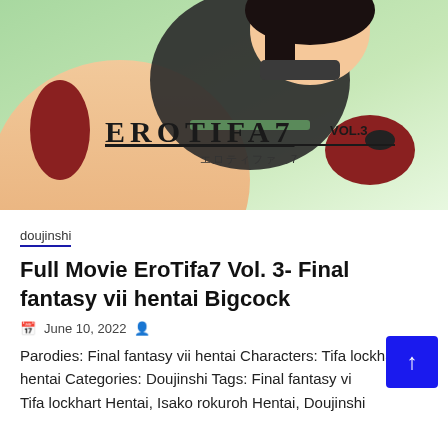[Figure (illustration): Manga/anime style cover art showing a female character in black outfit with text EROTIFA7 VOL.3 and Japanese subtitle エロティファ7 on a green gradient background]
doujinshi
Full Movie EroTifa7 Vol. 3- Final fantasy vii hentai Bigcock
June 10, 2022
Parodies: Final fantasy vii hentai Characters: Tifa lockhart hentai Categories: Doujinshi Tags: Final fantasy vii hentai, Tifa lockhart Hentai, Isako rokuroh Hentai, Doujinshi Hentai, Ple...